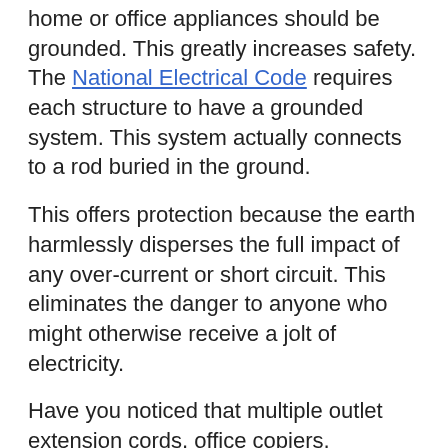home or office appliances should be grounded. This greatly increases safety. The National Electrical Code requires each structure to have a grounded system. This system actually connects to a rod buried in the ground.
This offers protection because the earth harmlessly disperses the full impact of any over-current or short circuit. This eliminates the danger to anyone who might otherwise receive a jolt of electricity.
Have you noticed that multiple outlet extension cords, office copiers, microwaves and other items have an extra prong? This grounds them to outlets that can handle the extra burst of electricity these items sometimes draw.
Light fixtures